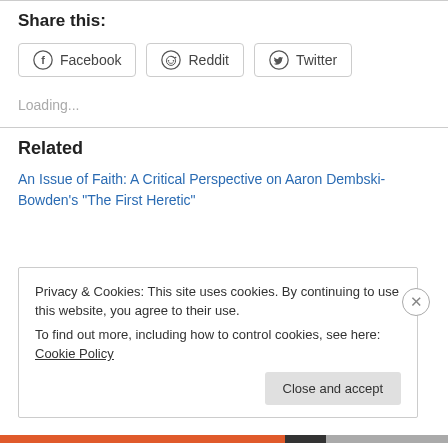Share this:
[Figure (other): Social share buttons: Facebook, Reddit, Twitter]
Loading...
Related
An Issue of Faith: A Critical Perspective on Aaron Dembski-Bowden's “The First Heretic”
Privacy & Cookies: This site uses cookies. By continuing to use this website, you agree to their use.
To find out more, including how to control cookies, see here: Cookie Policy